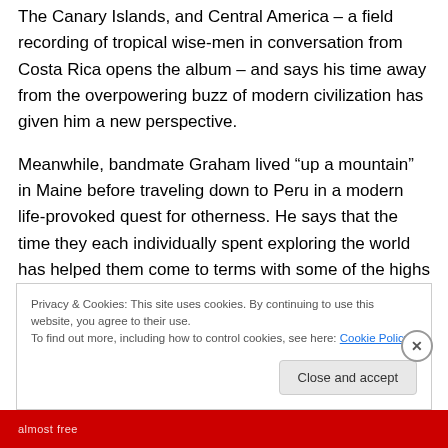The Canary Islands, and Central America – a field recording of tropical wise-men in conversation from Costa Rica opens the album – and says his time away from the overpowering buzz of modern civilization has given him a new perspective.
Meanwhile, bandmate Graham lived “up a mountain” in Maine before traveling down to Peru in a modern life-provoked quest for otherness. He says that the time they each individually spent exploring the world has helped them come to terms with some of the highs and tragic
Privacy & Cookies: This site uses cookies. By continuing to use this website, you agree to their use.
To find out more, including how to control cookies, see here: Cookie Policy